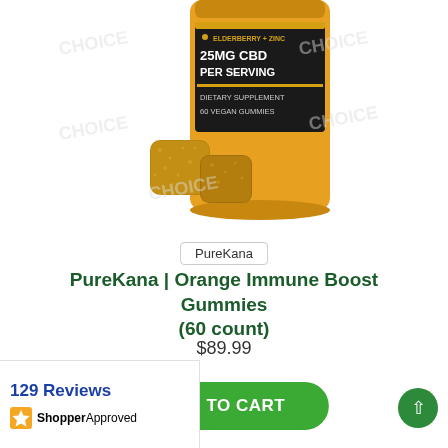[Figure (photo): Product photo of PureKana Orange Immune Boost Gummies jar (yellow/black label with elderberry + zinc, 25mg CBD per serving, 60 vegan gummies) with gummies in front, watermarked with CHOICE text]
PureKana
PureKana | Orange Immune Boost Gummies (60 count)
$89.99
ADD TO CART
129 Reviews
[Figure (logo): Shopper Approved logo with star icon]